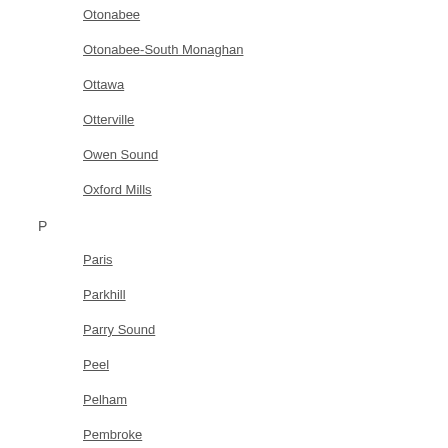Otonabee
Otonabee-South Monaghan
Ottawa
Otterville
Owen Sound
Oxford Mills
P
Paris
Parkhill
Parry Sound
Peel
Pelham
Pembroke
Penetanguishene
Perth
Petawawa